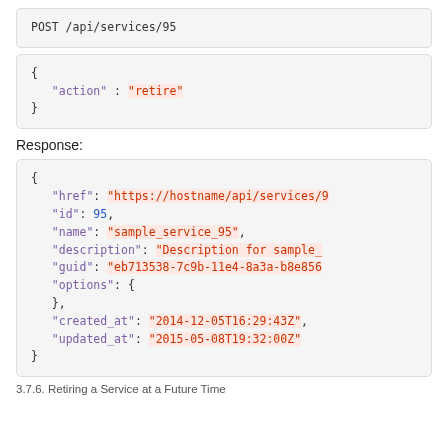POST /api/services/95
{
  "action" : "retire"
}
Response:
{
  "href": "https://hostname/api/services/9...",
  "id": 95,
  "name": "sample_service_95",
  "description": "Description for sample_...",
  "guid": "eb713538-7c9b-11e4-8a3a-b8e856...",
  "options": {
  },
  "created_at": "2014-12-05T16:29:43Z",
  "updated_at": "2015-05-08T19:32:00Z"
}
3.7.6. Retiring a Service at a Future Time